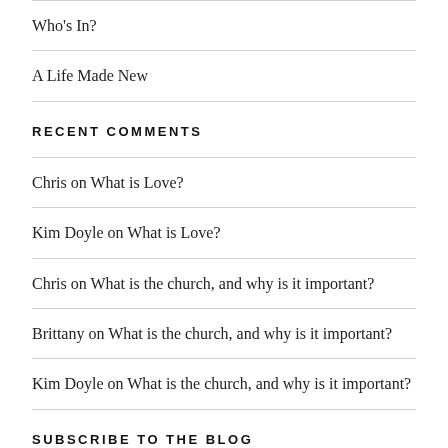Who's In?
A Life Made New
RECENT COMMENTS
Chris on What is Love?
Kim Doyle on What is Love?
Chris on What is the church, and why is it important?
Brittany on What is the church, and why is it important?
Kim Doyle on What is the church, and why is it important?
SUBSCRIBE TO THE BLOG